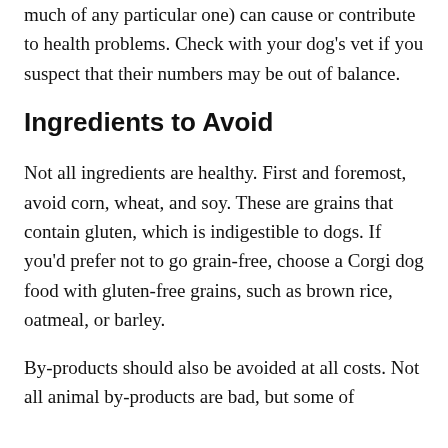much of any particular one) can cause or contribute to health problems. Check with your dog's vet if you suspect that their numbers may be out of balance.
Ingredients to Avoid
Not all ingredients are healthy. First and foremost, avoid corn, wheat, and soy. These are grains that contain gluten, which is indigestible to dogs. If you'd prefer not to go grain-free, choose a Corgi dog food with gluten-free grains, such as brown rice, oatmeal, or barley.
By-products should also be avoided at all costs. Not all animal by-products are bad, but some of